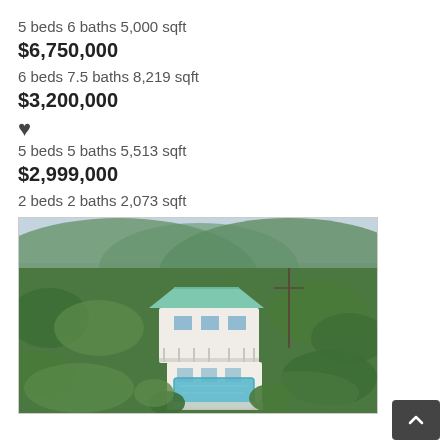5 beds 6 baths 5,000 sqft
$6,750,000
6 beds 7.5 baths 8,219 sqft
$3,200,000
5 beds 5 baths 5,513 sqft
$2,999,000
2 beds 2 baths 2,073 sqft
[Figure (photo): Aerial view of a white multi-story Caribbean villa with green roof, swimming pool, and surrounding lush tropical hillside vegetation]